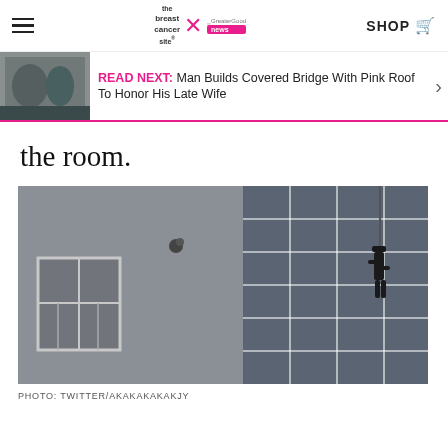the breast cancer site · SHOP
READ NEXT: Man Builds Covered Bridge With Pink Roof To Honor His Late Wife
the room.
[Figure (photo): Person climbing the exterior of a building facade, gripping a glass curtain wall grid. Left side shows a gray building with a white-trimmed window; right side shows a blue glass curtain wall with white grid lines.]
PHOTO: TWITTER/AKAKAKAKAKJY